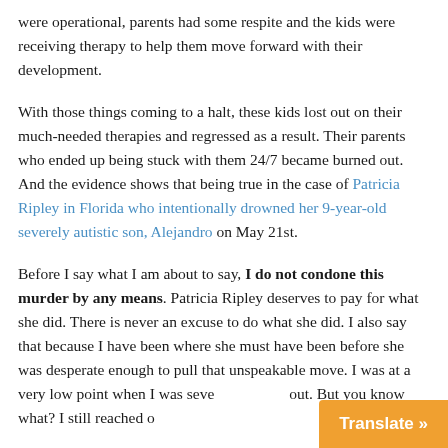were operational, parents had some respite and the kids were receiving therapy to help them move forward with their development.
With those things coming to a halt, these kids lost out on their much-needed therapies and regressed as a result. Their parents who ended up being stuck with them 24/7 became burned out. And the evidence shows that being true in the case of Patricia Ripley in Florida who intentionally drowned her 9-year-old severely autistic son, Alejandro on May 21st.
Before I say what I am about to say, I do not condone this murder by any means. Patricia Ripley deserves to pay for what she did. There is never an excuse to do what she did. I also say that because I have been where she must have been before she was desperate enough to pull that unspeakable move. I was at a very low point when I was seve... out. But you know what? I still reached o...